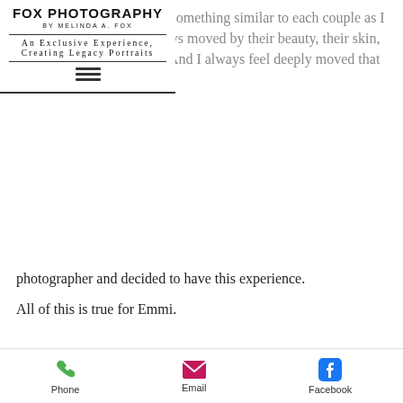find myself always saying something similar to each couple as I photograph them. I'm always moved by their beauty, their skin, their trust, their openness. And I always feel deeply moved that they chose me to be their photographer and decided to have this experience.
FOX PHOTOGRAPHY
BY MELINDA A. FOX
An Exclusive Experience
Creating Legacy Portraits
photographer and decided to have this experience.

All of this is true for Emmi.
[Figure (photo): Blurred portrait photo of a person against a dark background]
Phone   Email   Facebook